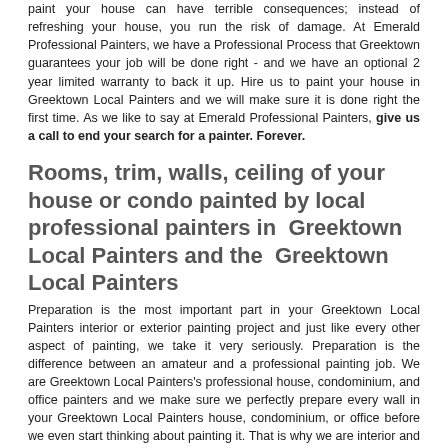paint your house can have terrible consequences; instead of refreshing your house, you run the risk of damage. At Emerald Professional Painters, we have a Professional Process that Greektown guarantees your job will be done right - and we have an optional 2 year limited warranty to back it up. Hire us to paint your house in Greektown Local Painters and we will make sure it is done right the first time. As we like to say at Emerald Professional Painters, give us a call to end your search for a painter. Forever.
Rooms, trim, walls, ceiling of your house or condo painted by local professional painters in  Greektown Local Painters and the  Greektown Local Painters
Preparation is the most important part in your Greektown Local Painters interior or exterior painting project and just like every other aspect of painting, we take it very seriously. Preparation is the difference between an amateur and a professional painting job. We are Greektown Local Painters's professional house, condominium, and office painters and we make sure we perfectly prepare every wall in your Greektown Local Painters house, condominium, or office before we even start thinking about painting it. That is why we are interior and exterior professional residential painting contractors.
In the preparation stage, all holes and cracks are professionally filled and sanded. Walls are checked for